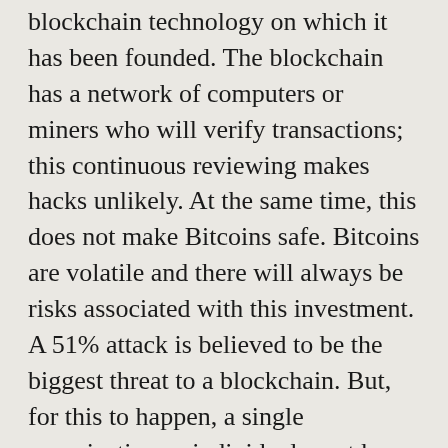blockchain technology on which it has been founded. The blockchain has a network of computers or miners who will verify transactions; this continuous reviewing makes hacks unlikely. At the same time, this does not make Bitcoins safe. Bitcoins are volatile and there will always be risks associated with this investment. A 51% attack is believed to be the biggest threat to a blockchain. But, for this to happen, a single organization or individual must have control over majority of the blockchain's mining power. This is highly unlikely; so, you can consider Bitcoin hack-proof.
While Bitcoins may be hard to hack, the risks of coins getting stolen from digital wallets is always there. Risks may be low but not absent. They are low because the blockchain makes sure that data is not localized inside a central server. Rather, it is